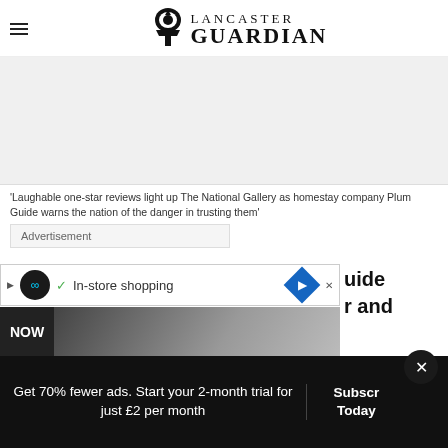Lancaster Guardian
[Figure (other): Advertisement banner placeholder, light grey background]
'Laughable one-star reviews light up The National Gallery as homestay company Plum Guide warns the nation of the danger in trusting them'
Advertisement
[Figure (screenshot): In-store shopping ad bar with circular logo, checkmark, text 'In-store shopping', and blue diamond navigation icon]
[Figure (screenshot): NOW bar with partial image of person in city]
[Figure (other): Partial text reading 'uide' and 'r and' on right side]
Get 70% fewer ads. Start your 2-month trial for just £2 per month
Subscribe Today